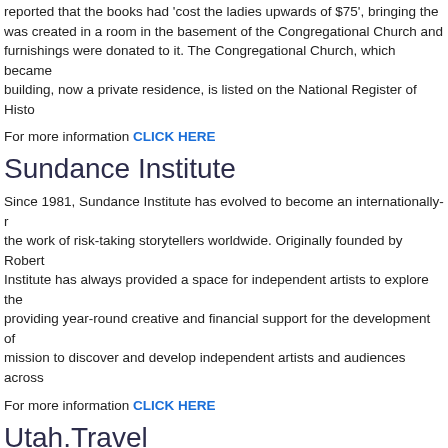reported that the books had 'cost the ladies upwards of $75', bringing the … was created in a room in the basement of the Congregational Church and … furnishings were donated to it. The Congregational Church, which became … building, now a private residence, is listed on the National Register of Histo…
For more information CLICK HERE
Sundance Institute
Since 1981, Sundance Institute has evolved to become an internationally-r… the work of risk-taking storytellers worldwide. Originally founded by Robert … Institute has always provided a space for independent artists to explore the… providing year-round creative and financial support for the development of … mission to discover and develop independent artists and audiences across…
For more information CLICK HERE
Utah.Travel
Elevate your Adventurous Spirit in Utah Home to five national parks, 43 sta… recreation areas, impossible landscapes, and unparalleled outdoor recreat… Rocky Mountains and the Desert Southwest. Whether mountain biking, fly … golf, Utah has it all. Come see why Utah is Life Elevated!